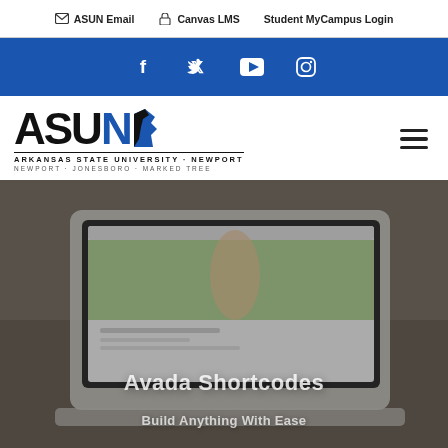ASUN Email   Canvas LMS   Student MyCampus Login
[Figure (screenshot): Blue social media bar with icons for Facebook, Twitter, YouTube, and Instagram]
[Figure (logo): ASUN Arkansas State University Newport logo with text Newport • Jonesboro • Marked Tree]
[Figure (screenshot): Hero image of a laptop on a wooden table showing a website with text 'Avada Shortcodes' and 'Build Anything With Ease']